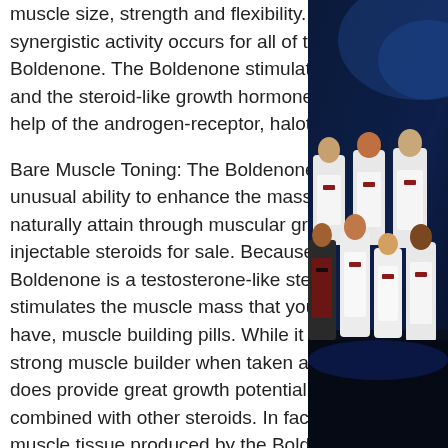muscle size, strength and flexibility. This synergistic activity occurs for all of the Boldenone. The Boldenone stimulates one and the steroid-like growth hormones with the help of the androgen-receptor, halotestin ekşi.
Bare Muscle Toning: The Boldenone has the unusual ability to enhance the mass that you naturally attain through muscular growth, injectable steroids for sale. Because the Boldenone is a testosterone-like steroid, it stimulates the muscle mass that you already have, muscle building pills. While it is not a strong muscle builder when taken alone, it does provide great growth potential when combined with other steroids. In fact the muscle tissue produced by the Boldenone is stronger than natural-tanned muscle tissue produced by the same person using testosterone-based steroids. This makes use of the Boldenone very appealing for athletic
[Figure (photo): Photo of a group of men in white and dark red formal attire (tuxedos/blazers) standing on a dark stage with blue lighting in the background.]